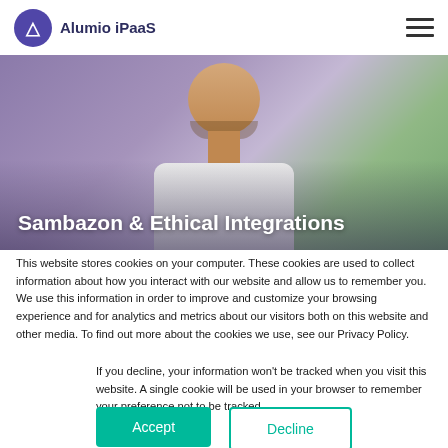Alumio iPaaS
[Figure (photo): Hero image of a smiling man with a beard wearing a white shirt, with purple and green background. Text overlay: Sambazon & Ethical Integrations]
Sambazon & Ethical Integrations
This website stores cookies on your computer. These cookies are used to collect information about how you interact with our website and allow us to remember you. We use this information in order to improve and customize your browsing experience and for analytics and metrics about our visitors both on this website and other media. To find out more about the cookies we use, see our Privacy Policy.
If you decline, your information won't be tracked when you visit this website. A single cookie will be used in your browser to remember your preference not to be tracked.
Accept
Decline